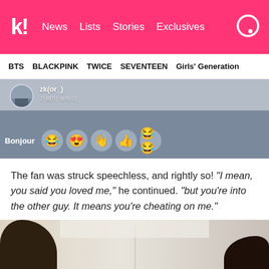k! News  Lists  Stories  Exclusives
BTS  BLACKPINK  TWICE  SEVENTEEN  Girls' Generation
[Figure (screenshot): Screenshot of a social media or chat interface showing a profile icon, Korean text username, the word 'Bonjour' and a row of emoji reaction buttons including laughing, heart-eyes, thumbs up/wave, thumbs up, and double laughing emojis on a grey background.]
The fan was struck speechless, and rightly so! “I mean, you said you loved me,” he continued. “but you’re into the other guy. It means you’re cheating on me.”
[Figure (photo): Bottom portion of a photo showing the top of a person's dark hair, cropped. The image is split with a dividing line in the middle, suggesting two side-by-side photos.]